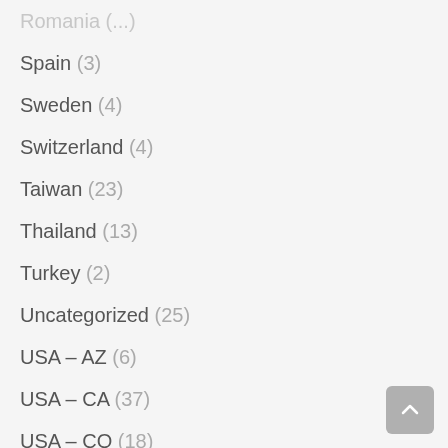Romania (...)
Spain (3)
Sweden (4)
Switzerland (4)
Taiwan (23)
Thailand (13)
Turkey (2)
Uncategorized (25)
USA – AZ (6)
USA – CA (37)
USA – CO (18)
USA – DC (1)
USA – ID (1)
USA – MT (1)
USA – NV (2)
USA – NY (2)